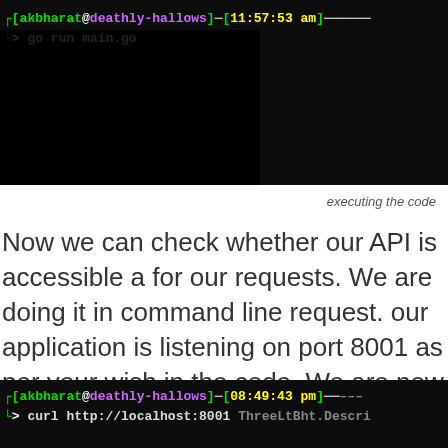[Figure (screenshot): Terminal screenshot showing command: go run main.go with user akbharat@deathly-hallows at 11:57:53 am]
executing the code
Now we can check whether our API is accessible a for our requests. We are doing it in command line request. our application is listening on port 8001 as per your wish in the code. We are now hitting t
[Figure (screenshot): Terminal screenshot showing command: curl http://localhost:8001 with user akbharat@deathly-hallows at 08:49:43 pm]